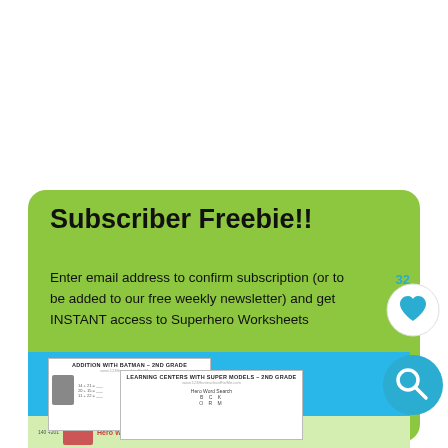Subscriber Freebie!!
Enter email address to confirm subscription (or to be added to our free weekly newsletter) and get INSTANT access to Superhero Worksheets
[Figure (illustration): Preview of superhero worksheets including Batman addition, superhero grammar, hero word search, and other educational worksheets shown in a blue banner area]